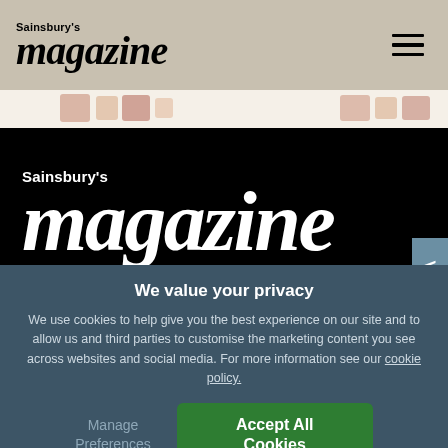Sainsbury's magazine
[Figure (screenshot): Decorative banner strip with food imagery on beige background]
[Figure (logo): Sainsbury's magazine logo in white on black background, large italic serif font]
In this issue   sainsburys.co.uk
We value your privacy
We use cookies to help give you the best experience on our site and to allow us and third parties to customise the marketing content you see across websites and social media. For more information see our cookie policy.
Manage Preferences
Accept All Cookies